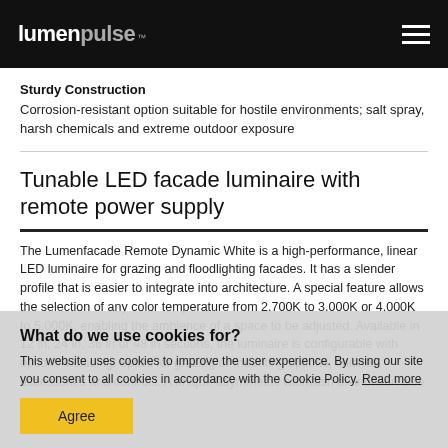lumenpulse™
Sturdy Construction
Corrosion-resistant option suitable for hostile environments; salt spray, harsh chemicals and extreme outdoor exposure
Tunable LED facade luminaire with remote power supply
The Lumenfacade Remote Dynamic White is a high-performance, linear LED luminaire for grazing and floodlighting facades. It has a slender profile that is easier to integrate into architecture. A special feature allows the selection of any color temperature from 2,700K to 3,000K or 4,000K to 5,000K, enabling the ambience of a space to be adjusted. Available in 12 in, 24 in, 36 in or 48 in sections, the luminaire is configurable with options including: optics for grazing or mounting options, finishes, accessories and controls. A unique asymmetric wallwash distribution also
What do we use cookies for?
This website uses cookies to improve the user experience. By using our site you consent to all cookies in accordance with the Cookie Policy. Read more
Agree